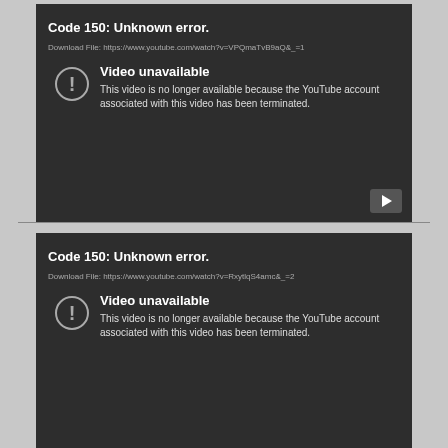Code 150: Unknown error.
Download File: https://www.youtube.com/watch?v=VPQmaTvB9aQ&_=1
[Figure (screenshot): YouTube video unavailable error screen showing exclamation icon with message: 'Video unavailable - This video is no longer available because the YouTube account associated with this video has been terminated.']
Code 150: Unknown error.
Download File: https://www.youtube.com/watch?v=RxytlqS4amc&_=2
[Figure (screenshot): YouTube video unavailable error screen showing exclamation icon with message: 'Video unavailable - This video is no longer available because the YouTube account associated with this video has been terminated.']